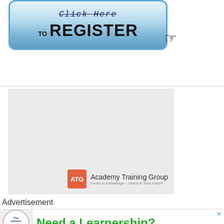[Figure (illustration): A blue button with 'Click Here' in italic strikethrough text and 'TO REGISTER' in bold black text with a cursor/hand icon]
[Figure (illustration): ATG Academy Training Group banner - light grey background with ATG logo and text 'Academy Training Group - Invest in Knowledge - Invest in Your Future']
Advertisement
[Figure (illustration): Careersportal advertisement banner with text 'Need a Learnership?' in green]